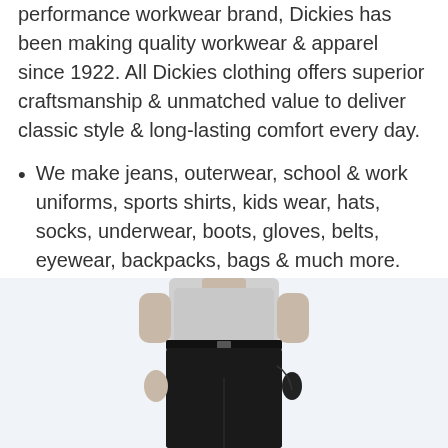performance workwear brand, Dickies has been making quality workwear & apparel since 1922. All Dickies clothing offers superior craftsmanship & unmatched value to deliver classic style & long-lasting comfort every day.
We make jeans, outerwear, school & work uniforms, sports shirts, kids wear, hats, socks, underwear, boots, gloves, belts, eyewear, backpacks, bags & much more.
[Figure (photo): A man wearing black dress pants and a gray t-shirt, shown from chest to below the knees, hands at sides/pockets.]